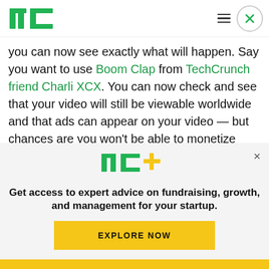TechCrunch
you can now see exactly what will happen. Say you want to use Boom Clap from TechCrunch friend Charli XCX. You can now check and see that your video will still be viewable worldwide and that ads can appear on your video — but chances are you won't be able to monetize your video through ads yourself.
[Figure (logo): TC+ logo with green TC letters and yellow plus sign]
Get access to expert advice on fundraising, growth, and management for your startup.
EXPLORE NOW